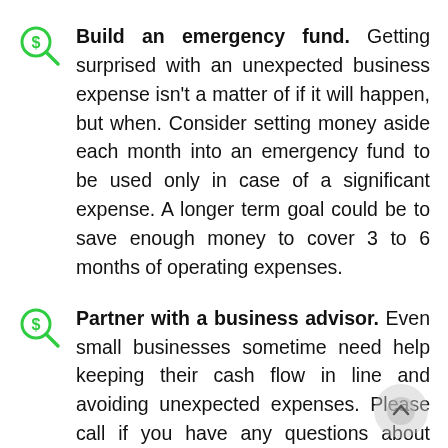Build an emergency fund. Getting surprised with an unexpected business expense isn't a matter of if it will happen, but when. Consider setting money aside each month into an emergency fund to be used only in case of a significant expense. A longer term goal could be to save enough money to cover 3 to 6 months of operating expenses.
Partner with a business advisor. Even small businesses sometime need help keeping their cash flow in line and avoiding unexpected expenses. Please call if you have any questions about organizing your business's cash flow and organizing for...